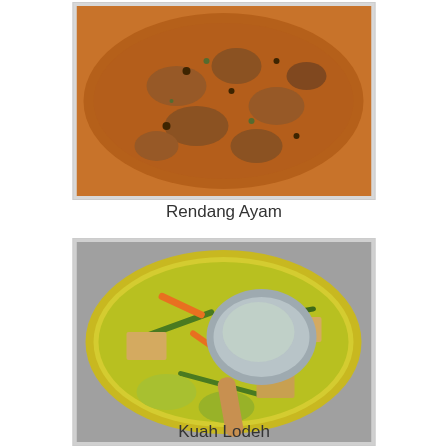[Figure (photo): A pot of Rendang Ayam, a brown spiced chicken dry curry dish in a metal bowl, viewed from above]
Rendang Ayam
[Figure (photo): A pot of Kuah Lodeh, a yellow-green coconut milk vegetable stew with carrots, tofu, and long beans, with a ladle in a metal bowl, viewed from above]
Kuah Lodeh